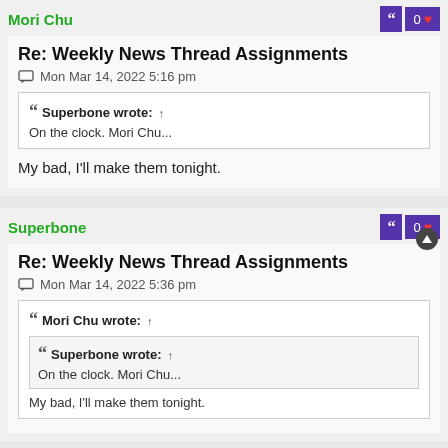Mori Chu
Re: Weekly News Thread Assignments
Mon Mar 14, 2022 5:16 pm
Superbone wrote: ↑
On the clock. Mori Chu...
My bad, I'll make them tonight.
Superbone
Re: Weekly News Thread Assignments
Mon Mar 14, 2022 5:36 pm
Mori Chu wrote: ↑
Superbone wrote: ↑
On the clock. Mori Chu...
My bad, I'll make them tonight.